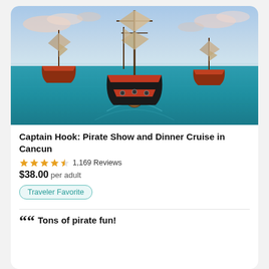[Figure (photo): Aerial view of three pirate ships sailing on turquoise ocean water at sunset with cloudy sky]
Captain Hook: Pirate Show and Dinner Cruise in Cancun
4.5 stars · 1,169 Reviews
$38.00 per adult
Traveler Favorite
““ Tons of pirate fun!